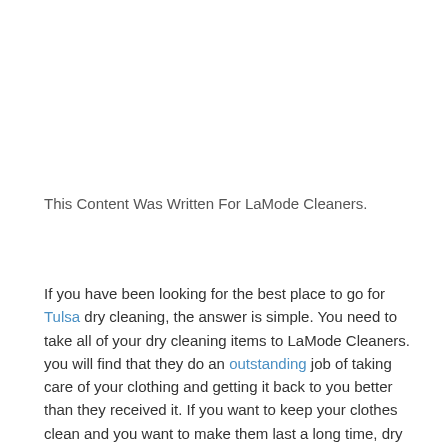This Content Was Written For LaMode Cleaners.
If you have been looking for the best place to go for Tulsa dry cleaning, the answer is simple. You need to take all of your dry cleaning items to LaMode Cleaners. you will find that they do an outstanding job of taking care of your clothing and getting it back to you better than they received it. If you want to keep your clothes clean and you want to make them last a long time, dry cleaning is a great option. If you